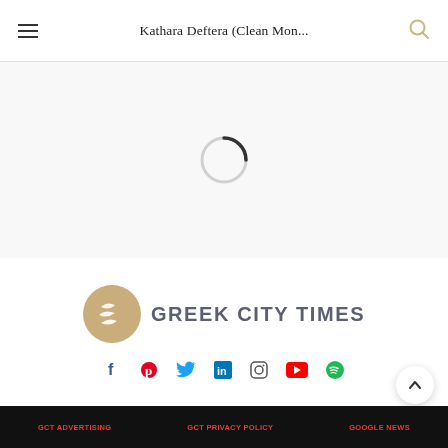Kathara Deftera (Clean Mon...
[Figure (other): Loading spinner / circular progress indicator in gray]
[Figure (logo): Greek City Times logo: gold circular icon with stylized white leaf/wing mark, followed by text GREEK CITY TIMES in gray]
[Figure (infographic): Social media icons row: Facebook (blue f), Pinterest (red P), Twitter (blue bird), LinkedIn (blue in), Instagram (outline camera), YouTube (red play button), Spotify (green circle)]
GCT ADVERTISING   GCT PRIVACY POLICY   GOOGLE NEWS